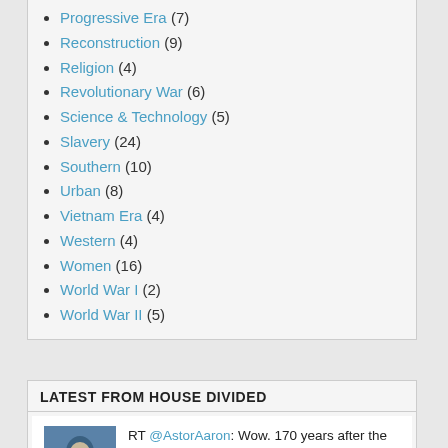Progressive Era (7)
Reconstruction (9)
Religion (4)
Revolutionary War (6)
Science & Technology (5)
Slavery (24)
Southern (10)
Urban (8)
Vietnam Era (4)
Western (4)
Women (16)
World War I (2)
World War II (5)
LATEST FROM HOUSE DIVIDED
RT @AstorAaron: Wow. 170 years after the famine. Population for the whole island was 8.4 million in 1844. https://t.co/210tjl4VDa